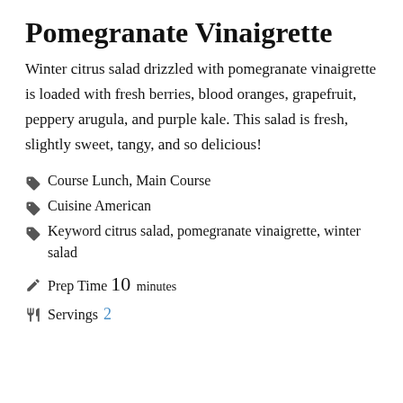Pomegranate Vinaigrette
Winter citrus salad drizzled with pomegranate vinaigrette is loaded with fresh berries, blood oranges, grapefruit, peppery arugula, and purple kale. This salad is fresh, slightly sweet, tangy, and so delicious!
Course Lunch, Main Course
Cuisine American
Keyword citrus salad, pomegranate vinaigrette, winter salad
Prep Time 10 minutes
Servings 2